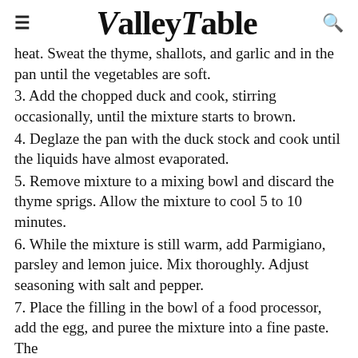Valley Table
heat. Sweat the thyme, shallots, and garlic and in the pan until the vegetables are soft.
3. Add the chopped duck and cook, stirring occasionally, until the mixture starts to brown.
4. Deglaze the pan with the duck stock and cook until the liquids have almost evaporated.
5. Remove mixture to a mixing bowl and discard the thyme sprigs. Allow the mixture to cool 5 to 10 minutes.
6. While the mixture is still warm, add Parmigiano, parsley and lemon juice. Mix thoroughly. Adjust seasoning with salt and pepper.
7. Place the filling in the bowl of a food processor, add the egg, and puree the mixture into a fine paste. The